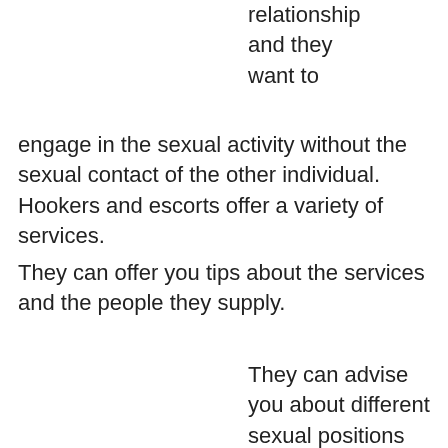be in a relationship and they want to engage in the sexual activity without the sexual contact of the other individual. Hookers and escorts offer a variety of services.
They can offer you tips about the services and the people they supply.
They can advise you about different sexual positions and provide information about how to Website To